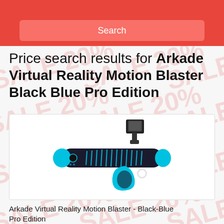Search
Price search results for Arkade Virtual Reality Motion Blaster Black Blue Pro Edition
[Figure (photo): Photo of the Arkade Virtual Reality Motion Blaster in Black and Blue color scheme, a handheld VR gun controller with a smartphone mount on top, featuring cyan/blue accents and glowing blue LED lines on the barrel.]
Arkade Virtual Reality Motion Blaster - Black-Blue Pro Edition